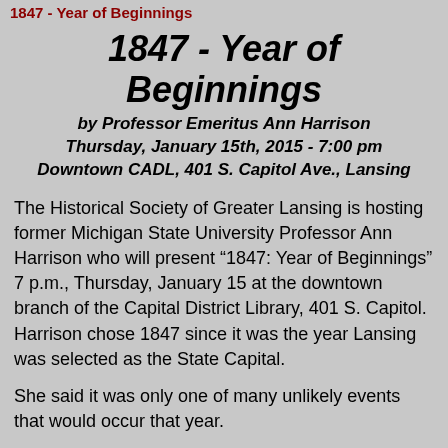1847 - Year of Beginnings
1847 - Year of Beginnings
by Professor Emeritus Ann Harrison
Thursday, January 15th, 2015 - 7:00 pm
Downtown CADL, 401 S. Capitol Ave., Lansing
The Historical Society of Greater Lansing is hosting former Michigan State University Professor Ann Harrison who will present “1847: Year of Beginnings” 7 p.m., Thursday, January 15 at the downtown branch of the Capital District Library, 401 S. Capitol. Harrison chose 1847 since it was the year Lansing was selected as the State Capital.
She said it was only one of many unlikely events that would occur that year.
“It was very strange for Lansing to be chosen, but it